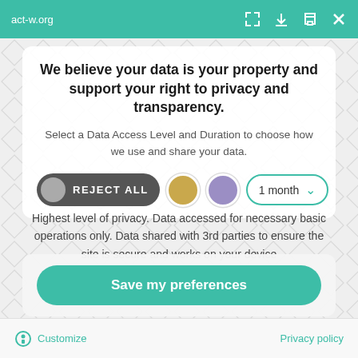act-w.org
We believe your data is your property and support your right to privacy and transparency.
Select a Data Access Level and Duration to choose how we use and share your data.
REJECT ALL   1 month
Highest level of privacy. Data accessed for necessary basic operations only. Data shared with 3rd parties to ensure the site is secure and works on your device
Save my preferences
Customize   Privacy policy